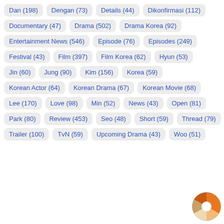Dan (198)
Dengan (73)
Details (44)
Dikonfirmasi (112)
Documentary (47)
Drama (502)
Drama Korea (92)
Entertainment News (546)
Episode (76)
Episodes (249)
Festival (43)
Film (397)
Film Korea (62)
Hyun (53)
Jin (60)
Jung (90)
Kim (156)
Korea (59)
Korean Actor (64)
Korean Drama (67)
Korean Movie (68)
Lee (170)
Love (98)
Min (52)
News (43)
Open (81)
Park (80)
Review (453)
Seo (48)
Short (59)
Thread (79)
Trailer (100)
TvN (59)
Upcoming Drama (43)
Woo (51)
[Figure (logo): Colorful pie/wheel logo in bottom right corner]